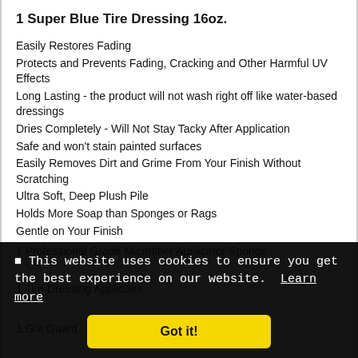1 Super Blue Tire Dressing 16oz.
Easily Restores Fading
Protects and Prevents Fading, Cracking and Other Harmful UV Effects
Long Lasting - the product will not wash right off like water-based dressings
Dries Completely - Will Not Stay Tacky After Application
Safe and won't stain painted surfaces
Easily Removes Dirt and Grime From Your Finish Without Scratching
Ultra Soft, Deep Plush Pile
Holds More Soap than Sponges or Rags
Gentle on Your Finish
1 Professional Grade Microfiber Applicator Sponge
1 Tire Dressing Applicator
1 Grit Guard